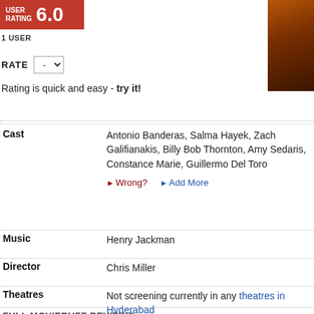[Figure (other): Red box with USER RATING 6.0]
[Figure (photo): Movie still photo top right corner]
1 USER
RATE -
Rating is quick and easy - try it!
| Cast | Antonio Banderas, Salma Hayek, Zach Galifianakis, Billy Bob Thornton, Amy Sedaris, Constance Marie, Guillermo Del Toro |
| Music | Henry Jackman |
| Director | Chris Miller |
| Theatres | Not screening currently in any theatres in Hyderabad |
FULL MOVIEBUFF REVIEWS